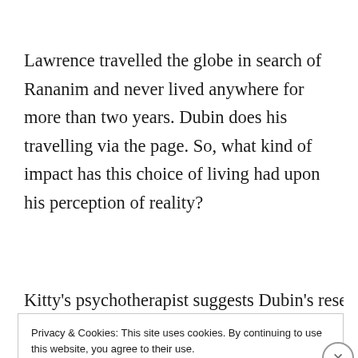Lawrence travelled the globe in search of Rananim and never lived anywhere for more than two years. Dubin does his travelling via the page. So, what kind of impact has this choice of living had upon his perception of reality?
Kitty's psychotherapist suggests Dubin's research
Privacy & Cookies: This site uses cookies. By continuing to use this website, you agree to their use.
To find out more, including how to control cookies, see here: Cookie Policy
Close and accept